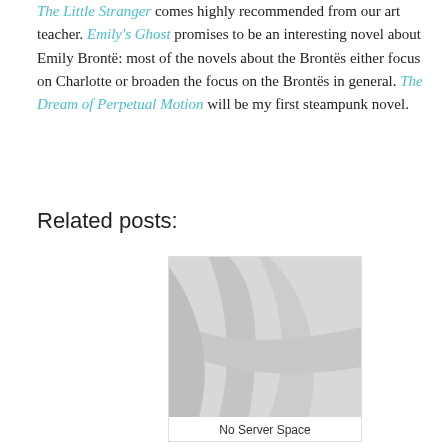The Little Stranger comes highly recommended from our art teacher. Emily's Ghost promises to be an interesting novel about Emily Brontë: most of the novels about the Brontës either focus on Charlotte or broaden the focus on the Brontës in general. The Dream of Perpetual Motion will be my first steampunk novel.
Related posts:
[Figure (photo): Placeholder image with grey diagonal swoosh shapes — no image loaded (broken/missing image placeholder)]
No Server Space